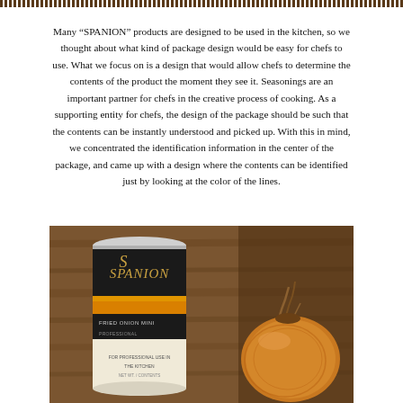decorative header border pattern
Many “SPANION” products are designed to be used in the kitchen, so we thought about what kind of package design would be easy for chefs to use. What we focus on is a design that would allow chefs to determine the contents of the product the moment they see it. Seasonings are an important partner for chefs in the creative process of cooking. As a supporting entity for chefs, the design of the package should be such that the contents can be instantly understood and picked up. With this in mind, we concentrated the identification information in the center of the package, and came up with a design where the contents can be identified just by looking at the color of the lines.
[Figure (photo): A SPANION branded seasoning can with black and orange bands and gold logo, placed next to a whole brown onion on a wooden cutting board background]